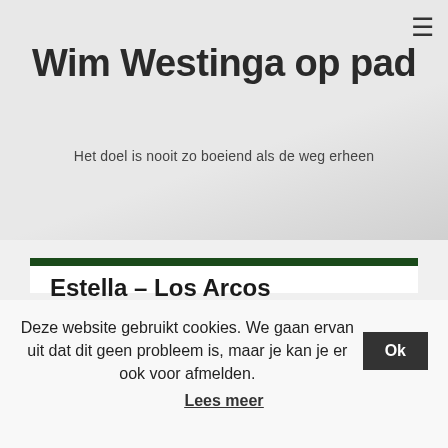Wim Westinga op pad
Het doel is nooit zo boeiend als de weg erheen
Estella – Los Arcos
No Comments
Deze website gebruikt cookies. We gaan ervan uit dat dit geen probleem is, maar je kan je er ook voor afmelden. Ok
Lees meer